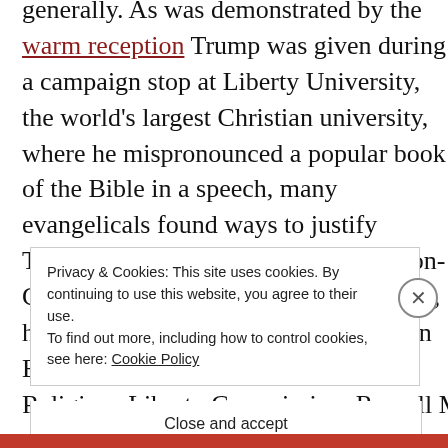generally. As was demonstrated by the warm reception Trump was given during a campaign stop at Liberty University, the world's largest Christian university, where he mispronounced a popular book of the Bible in a speech, many evangelicals found ways to justify Trump's less desirable qualities and non-Christian habits. There were exceptions, however. The president of the Southern Baptist Convention's Ethics & Religious Liberty Commission, Russell M...
Privacy & Cookies: This site uses cookies. By continuing to use this website, you agree to their use. To find out more, including how to control cookies, see here: Cookie Policy
Close and accept